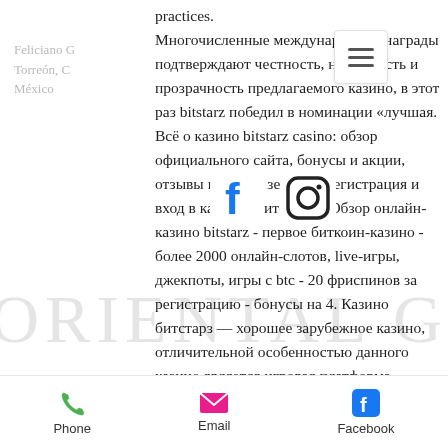practices.
Многочисленные международные награды подтверждают честность, надёжность и прозрачность предлагаемого казино, в этот раз bitstarz победил в номинации «лучшая. Всё о казино bitstarz casino: обзор официального сайта, бонусы и акции, отзывы игроков, зеркало, регистрация и вход в казино «битстарз». Обзор онлайн-казино bitstarz - первое биткоин-казино - более 2000 онлайн-слотов, live-игры, джекпоты, игры с btc - 20 фриспинов за регистрацию - бонусы на 4. Казино битстарз — хорошее зарубежное казино, отличительной особенностью данного казино является игровая платформа softswiss. Так же в казино доступны слоты. Казино bitstarz, битстарз казино зеркало вход. Home › forums ›
Feliciano G
Torreón, C
México
[Figure (other): Hamburger/menu icon overlay (three horizontal lines in a white box with border)]
[Figure (other): Facebook 'f' logo icon overlay]
[Figure (other): Instagram camera logo icon overlay]
[Figure (other): ORIENTAL GRIEL watermark text in background]
[Figure (other): TORREON watermark text in background]
Phone    Email    Facebook
Phone | Email | Facebook